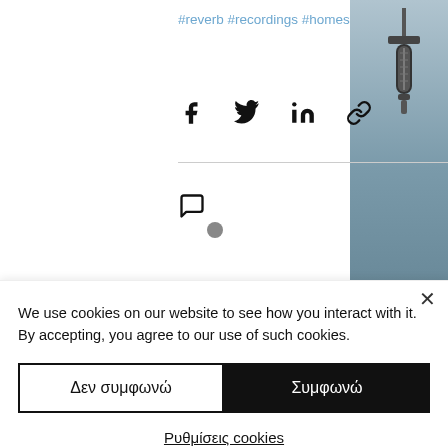#reverb #recordings #homestudioproject
[Figure (screenshot): Social share icons: Facebook, Twitter, LinkedIn, link/chain icon]
[Figure (screenshot): Comment icon (speech bubble) and heart/like icon (red outline heart)]
[Figure (photo): Sidebar image showing microphone hanging from ceiling, blue-gray background]
[Figure (other): Loading indicator dot (gray circle)]
We use cookies on our website to see how you interact with it. By accepting, you agree to our use of such cookies.
Δεν συμφωνώ
Συμφωνώ
Ρυθμίσεις cookies